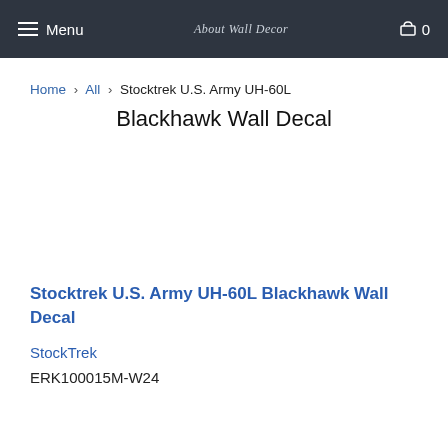Menu  About Wall Decor  0
Home > All > Stocktrek U.S. Army UH-60L Blackhawk Wall Decal
Stocktrek U.S. Army UH-60L Blackhawk Wall Decal
Stocktrek U.S. Army UH-60L Blackhawk Wall Decal
StockTrek
ERK100015M-W24